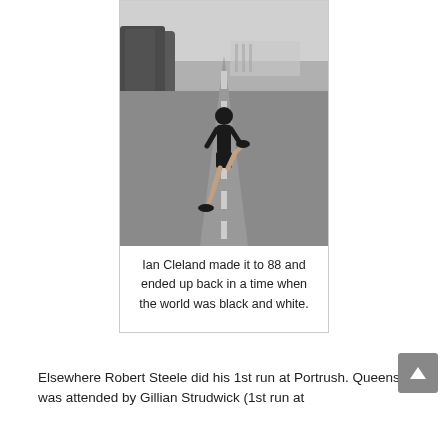[Figure (photo): Black and white photograph of a man running on a wide empty road, with trees on the left and a large building visible in the background distance.]
Ian Cleland made it to 88 and ended up back in a time when the world was black and white.
Elsewhere Robert Steele did his 1st run at Portrush. Queens was attended by Gillian Strudwick (1st run at